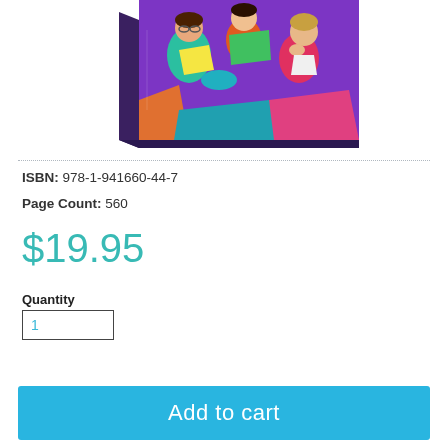[Figure (illustration): Colorful illustrated book cover showing stylized cartoon figures of people reading and writing, with bright colors including teal, green, orange, purple, pink, and yellow on a purple background. The book is shown in a 3D perspective view.]
ISBN: 978-1-941660-44-7
Page Count: 560
$19.95
Quantity
1
Add to cart